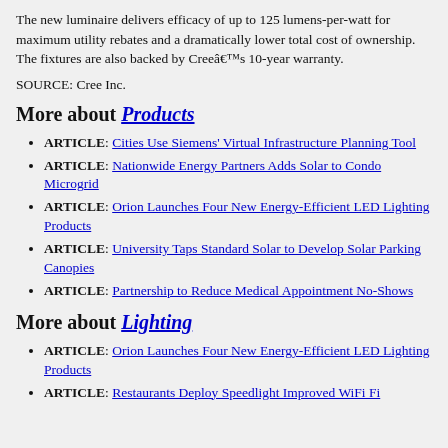The new luminaire delivers efficacy of up to 125 lumens-per-watt for maximum utility rebates and a dramatically lower total cost of ownership. The fixtures are also backed by Cree’s 10-year warranty.
SOURCE: Cree Inc.
More about Products
ARTICLE: Cities Use Siemens' Virtual Infrastructure Planning Tool
ARTICLE: Nationwide Energy Partners Adds Solar to Condo Microgrid
ARTICLE: Orion Launches Four New Energy-Efficient LED Lighting Products
ARTICLE: University Taps Standard Solar to Develop Solar Parking Canopies
ARTICLE: Partnership to Reduce Medical Appointment No-Shows
More about Lighting
ARTICLE: Orion Launches Four New Energy-Efficient LED Lighting Products
ARTICLE: [partial]